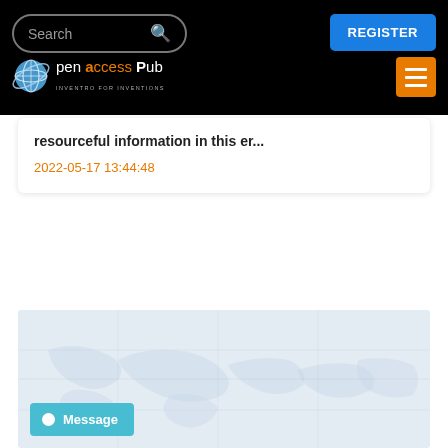Search | REGISTER
[Figure (logo): Open Access Pub logo with globe icon and tagline INVENTRO FOR INVENTIONS]
resourceful information in this er...
2022-05-17 13:44:48
[Figure (map): Light blue/grey world map background with decorative geographic line patterns]
Message